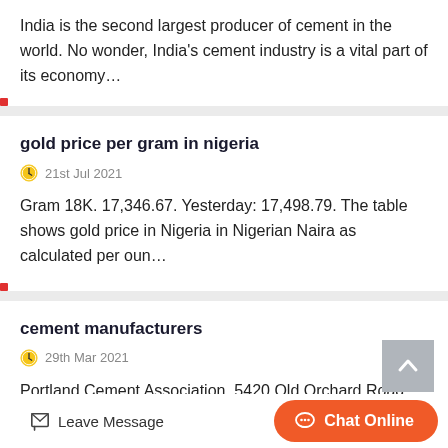India is the second largest producer of cement in the world. No wonder, India's cement industry is a vital part of its economy…
gold price per gram in nigeria
21st Jul 2021
Gram 18K. 17,346.67. Yesterday: 17,498.79. The table shows gold price in Nigeria in Nigerian Naira as calculated per oun…
cement manufacturers
29th Mar 2021
Portland Cement Association. 5420 Old Orchard Road; Skokie
Leave Message  Chat Online